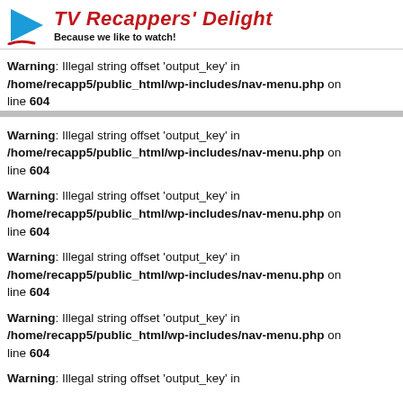TV Recappers' Delight — Because we like to watch!
Warning: Illegal string offset 'output_key' in /home/recapp5/public_html/wp-includes/nav-menu.php on line 604
Warning: Illegal string offset 'output_key' in /home/recapp5/public_html/wp-includes/nav-menu.php on line 604
Warning: Illegal string offset 'output_key' in /home/recapp5/public_html/wp-includes/nav-menu.php on line 604
Warning: Illegal string offset 'output_key' in /home/recapp5/public_html/wp-includes/nav-menu.php on line 604
Warning: Illegal string offset 'output_key' in /home/recapp5/public_html/wp-includes/nav-menu.php on line 604
Warning: Illegal string offset 'output_key' in /home/recapp5/public_html/wp-includes/nav-menu.php on line 604